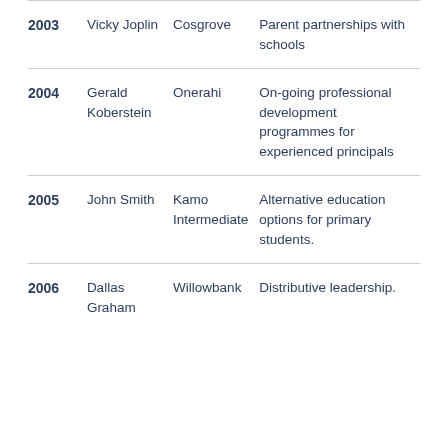| 2003 | Vicky Joplin | Cosgrove | Parent partnerships with schools |
| 2004 | Gerald Koberstein | Onerahi | On-going professional development programmes for experienced principals |
| 2005 | John Smith | Kamo Intermediate | Alternative education options for primary students. |
| 2006 | Dallas Graham | Willowbank | Distributive leadership. |